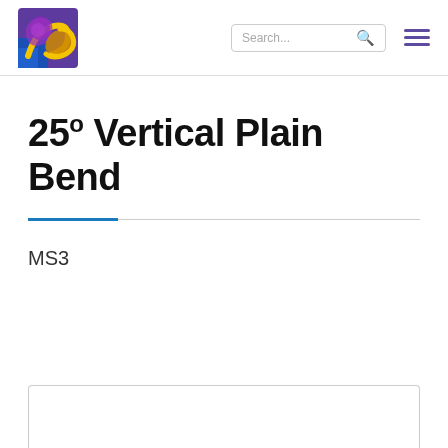[Figure (logo): QC company logo with yellow and purple design on colorful background]
25º Vertical Plain Bend
MS3
[Figure (other): Bottom content box, partially visible, white with light gray border]